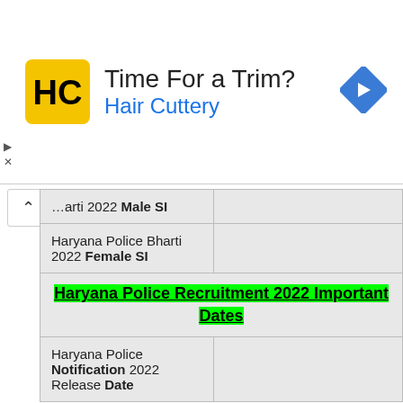[Figure (other): Advertisement banner for Hair Cuttery with logo, text 'Time For a Trim? Hair Cuttery', and a blue navigation arrow icon. Ad controls (play and close) on the left.]
| Bharti 2022 Male SI |  |
| Haryana Police Bharti 2022 Female SI |  |
| Haryana Police Recruitment 2022 Important Dates |  |
| Haryana Police Notification 2022 Release Date |  |
Haryana Police Recruitment 2022 Important Dates